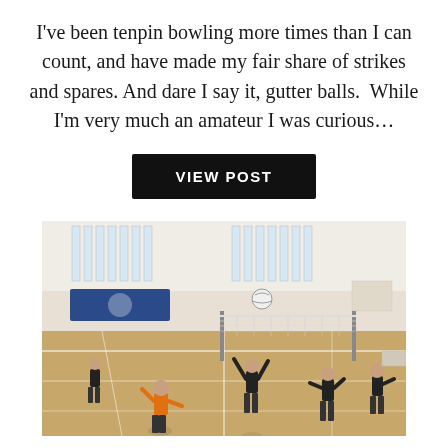I've been tenpin bowling more times than I can count, and have made my fair share of strikes and spares. And dare I say it, gutter balls.  While I'm very much an amateur I was curious…
VIEW POST
[Figure (photo): Indoor volleyball court scene showing players in black and orange jerseys playing a match. A player in an orange shirt is about to hit or has just hit the ball over a net. Other players are positioned around the court in a gymnasium with large windows and hardwood floor.]